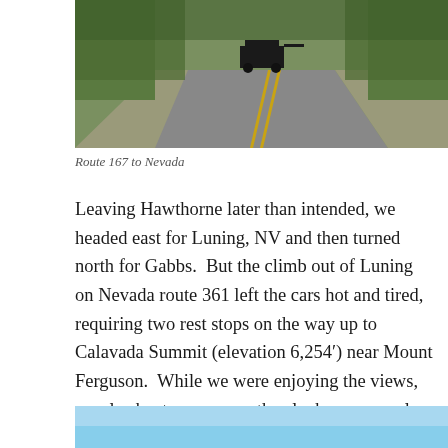[Figure (photo): A road (Route 167) stretching into the distance with a vintage vehicle visible ahead, surrounded by vegetation and hills. Yellow center lines visible on the asphalt.]
Route 167 to Nevada
Leaving Hawthorne later than intended, we headed east for Luning, NV and then turned north for Gabbs.  But the climb out of Luning on Nevada route 361 left the cars hot and tired, requiring two rest stops on the way up to Calavada Summit (elevation 6,254′) near Mount Ferguson.  While we were enjoying the views, we also kept one eye on the clock as our goal for the day was to sleep in Austin, NV.
[Figure (photo): Bottom portion of a photo showing a blue sky, partially cut off at the bottom of the page.]